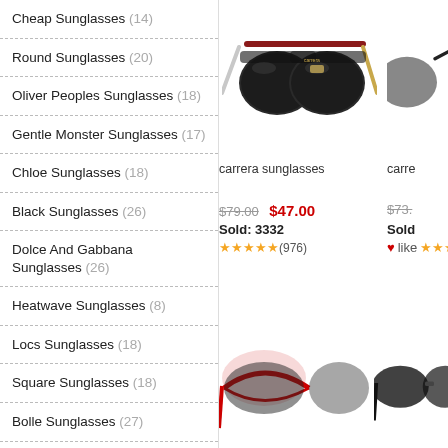Cheap Sunglasses (14)
Round Sunglasses (20)
Oliver Peoples Sunglasses (18)
Gentle Monster Sunglasses (17)
Chloe Sunglasses (18)
Black Sunglasses (26)
Dolce And Gabbana Sunglasses (26)
Heatwave Sunglasses (8)
Locs Sunglasses (18)
Square Sunglasses (18)
Bolle Sunglasses (27)
Cycling Sunglasses (7)
Arnette Sunglasses (26)
Cool Sunglasses (18)
Tom Ford Sunglasses Men (17)
[Figure (photo): Black and gold Carrera aviator sunglasses product photo]
carrera sunglasses
$79.00  $47.00  Sold: 3332  ★★★★★(976)
[Figure (photo): Partial view of a second Carrera sunglasses product (grey lens)]
carre
$73.  Sold  ❤like ★★★
[Figure (photo): Bottom partial product image of sunglasses with red frame]
[Figure (photo): Bottom partial product image of black sunglasses]